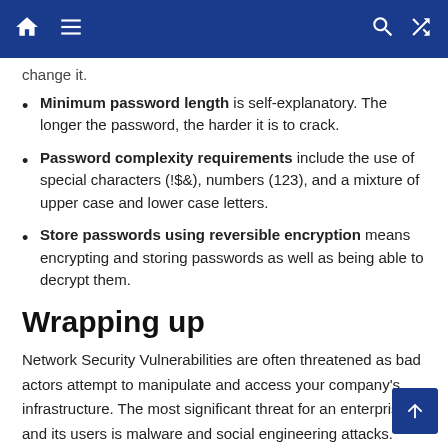[Navigation bar with home, menu, search, shuffle icons]
change it.
Minimum password length is self-explanatory. The longer the password, the harder it is to crack.
Password complexity requirements include the use of special characters (!$&), numbers (123), and a mixture of upper case and lower case letters.
Store passwords using reversible encryption means encrypting and storing passwords as well as being able to decrypt them.
Wrapping up
Network Security Vulnerabilities are often threatened as bad actors attempt to manipulate and access your company's infrastructure. The most significant threat for an enterprise and its users is malware and social engineering attacks. Outdated software includes bugs not in the latest version, which pose a security the end, malfunctioned firewalls and default operating system